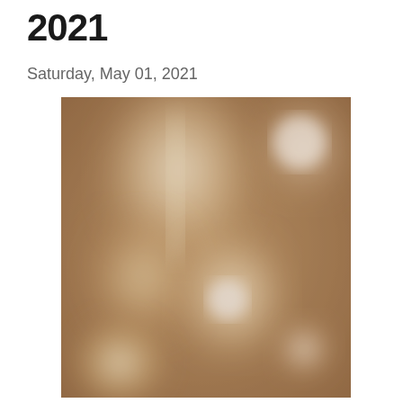2021
Saturday, May 01, 2021
[Figure (photo): A blurry, warm-toned bokeh photograph with golden and cream hues, showing soft out-of-focus light orbs and abstract forms against a brownish background.]